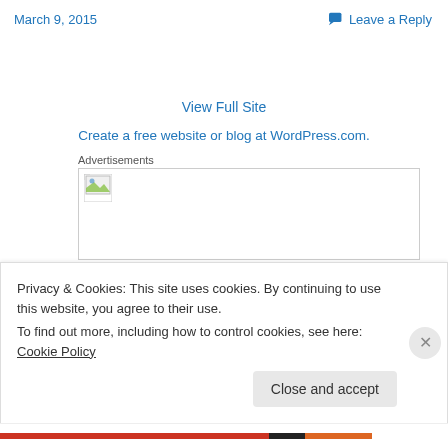March 9, 2015
Leave a Reply
View Full Site
Create a free website or blog at WordPress.com.
Advertisements
[Figure (other): Advertisement image placeholder box with broken image icon in top-left corner]
Privacy & Cookies: This site uses cookies. By continuing to use this website, you agree to their use.
To find out more, including how to control cookies, see here: Cookie Policy
Close and accept